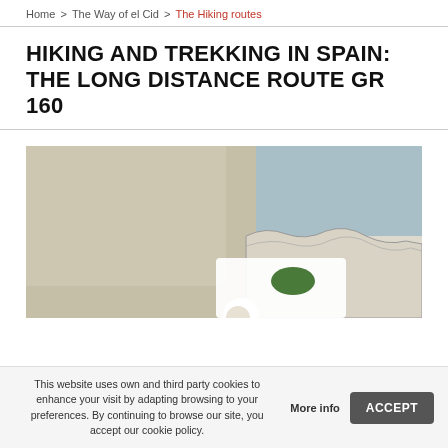Home > The Way of el Cid > The Hiking routes
HIKING AND TREKKING IN SPAIN: THE LONG DISTANCE ROUTE GR 160
[Figure (map): Partial map image showing a topographic/regional map with muted green and blue-grey tones, featuring land outlines and a green oval marker in the lower-left area.]
This website uses own and third party cookies to enhance your visit by adapting browsing to your preferences. By continuing to browse our site, you accept our cookie policy.
More info
ACCEPT